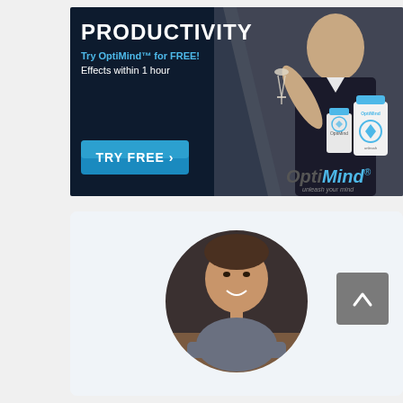[Figure (photo): Advertisement for OptiMind supplement. Dark navy/blue background on left with white bold text 'PRODUCTIVITY', teal text 'Try OptiMind™ for FREE!', white text 'Effects within 1 hour', and a blue 'TRY FREE >' button. Right side shows a man in a suit holding a wine glass, with OptiMind supplement bottles and the OptiMind brand logo with tagline 'unleash your mind'.]
[Figure (photo): Profile card with a circular cropped photo of a young smiling man in a grey polo shirt. Light blue/grey card background. A grey scroll-up button with an upward arrow chevron is visible on the right side.]